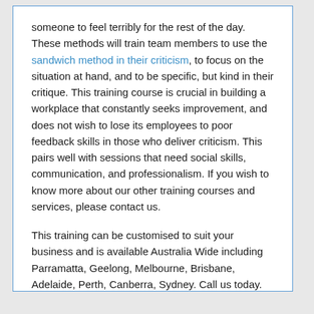someone to feel terribly for the rest of the day. These methods will train team members to use the sandwich method in their criticism, to focus on the situation at hand, and to be specific, but kind in their critique. This training course is crucial in building a workplace that constantly seeks improvement, and does not wish to lose its employees to poor feedback skills in those who deliver criticism. This pairs well with sessions that need social skills, communication, and professionalism. If you wish to know more about our other training courses and services, please contact us.
This training can be customised to suit your business and is available Australia Wide including Parramatta, Geelong, Melbourne, Brisbane, Adelaide, Perth, Canberra, Sydney. Call us today.